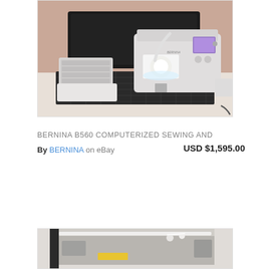[Figure (photo): Photo of a Bernina B560 computerized sewing machine with accessories, displayed on a cutting mat on a table. Machine is white/grey with a color display screen, with various presser feet and attachments visible.]
BERNINA B560 COMPUTERIZED SEWING AND
By BERNINA on eBay   USD $1,595.00
[Figure (photo): Photo of what appears to be a grey sewing machine or longarm quilting machine component, viewed from the front/side.]